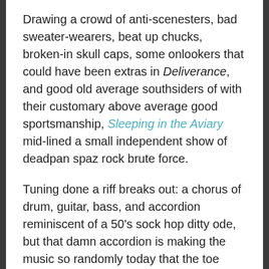Drawing a crowd of anti-scenesters, bad sweater-wearers, beat up chucks, broken-in skull caps, some onlookers that could have been extras in Deliverance, and good old average southsiders of with their customary above average good sportsmanship, Sleeping in the Aviary mid-lined a small independent show of deadpan spaz rock brute force.
Tuning done a riff breaks out: a chorus of drum, guitar, bass, and accordion reminiscent of a 50's sock hop ditty ode, but that damn accordion is making the music so randomly today that the toe tapping of the spectators soon turns knee bopping. Next song, a little less 50's with a little more DIY alternative, and torsos start getting in the action. Before the set starts my girlfriend sees a friend of hers and his friend claims he